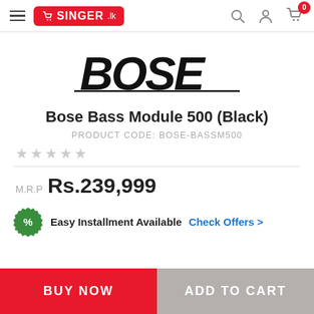SINGER.lk — navigation header with hamburger menu, search, account, and cart icons
[Figure (logo): BOSE brand logo in bold italic black text]
Bose Bass Module 500 (Black)
PRODUCT CODE: BOSE-BASSM500
★★★★★ (empty stars rating)
M.R.P Rs.239,999
Easy Installment Available Check Offers >
BUY NOW
ADD TO CART